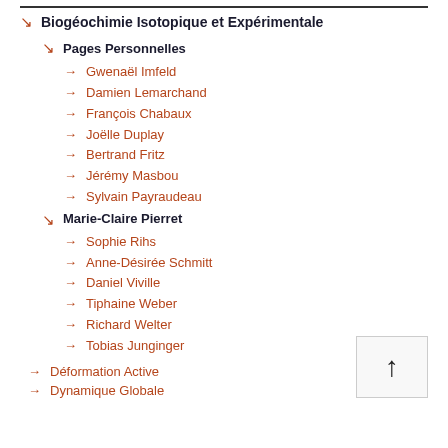Biogéochimie Isotopique et Expérimentale
Pages Personnelles
Gwenaël Imfeld
Damien Lemarchand
François Chabaux
Joëlle Duplay
Bertrand Fritz
Jérémy Masbou
Sylvain Payraudeau
Marie-Claire Pierret
Sophie Rihs
Anne-Désirée Schmitt
Daniel Viville
Tiphaine Weber
Richard Welter
Tobias Junginger
Déformation Active
Dynamique Globale